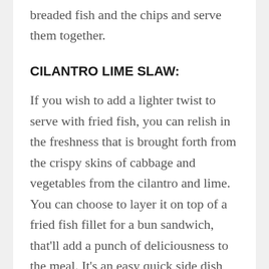breaded fish and the chips and serve them together.
CILANTRO LIME SLAW:
If you wish to add a lighter twist to serve with fried fish, you can relish in the freshness that is brought forth from the crispy skins of cabbage and vegetables from the cilantro and lime. You can choose to layer it on top of a fried fish fillet for a bun sandwich, that'll add a punch of deliciousness to the meal. It's an easy quick side dish, that is perfect for the summer or even